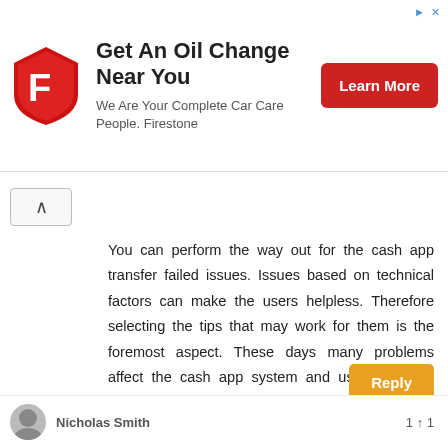[Figure (other): Firestone advertisement banner: logo (red shield with F), headline 'Get An Oil Change Near You', subtitle 'We Are Your Complete Car Care People. Firestone', red 'Learn More' button]
You can perform the way out for the cash app transfer failed issues. Issues based on technical factors can make the users helpless. Therefore selecting the tips that may work for them is the foremost aspect. These days many problems affect the cash app system and users have to encounter unexpected troubles. Thus, choosing the appropriate measure is the foremost thing to continue with the cash app account at all times. https://www.cash-app-support-number.com/blog/cash-app-transfer-failed/
Reply
Nicholas Smith